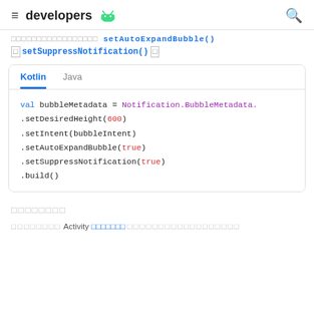≡ developers [android] 🔍
□□□□□□□□□□□□□□□□□ setAutoExpandBubble()
□ setSuppressNotification() □
[Figure (screenshot): Code box with Kotlin/Java tabs showing Kotlin code: val bubbleMetadata = Notification.BubbleMetadata. .setDesiredHeight(600) .setIntent(bubbleIntent) .setAutoExpandBubble(true) .setSuppressNotification(true) .build()]
□□□□□□□□
□□□□□□□□ Activity □□□□□□□□□□□□□□□□□□□□□□□□□□□□